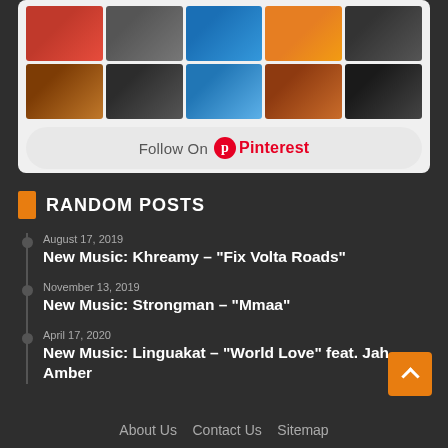[Figure (photo): Pinterest photo grid with 10 thumbnail images arranged in 2 rows of 5]
Follow On Pinterest
RANDOM POSTS
August 17, 2019
New Music: Khreamy – “Fix Volta Roads”
November 13, 2019
New Music: Strongman – “Mmaa”
April 17, 2020
New Music: Linguakat – “World Love” feat. Jah Amber
About Us   Contact Us   Sitemap